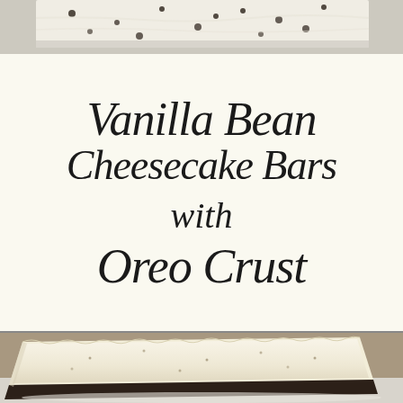[Figure (photo): Top photo strip showing cheesecake bars with white frosting and dark cookie crumbles from above]
Vanilla Bean Cheesecake Bars with Oreo Crust
[Figure (photo): Bottom photo showing a slice of vanilla bean cheesecake bar with oreo crust on a white plate, side view]